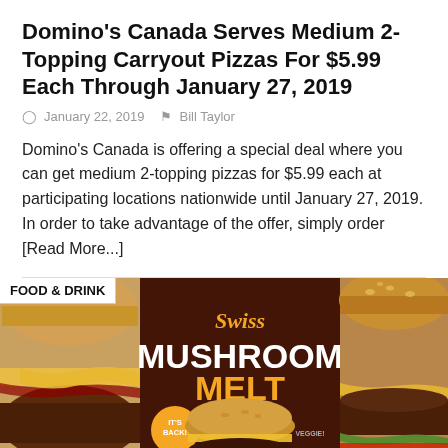Domino's Canada Serves Medium 2-Topping Carryout Pizzas For $5.99 Each Through January 27, 2019
January 22, 2019   Bill Taylor
Domino's Canada is offering a special deal where you can get medium 2-topping pizzas for $5.99 each at participating locations nationwide until January 27, 2019. In order to take advantage of the offer, simply order [Read More...]
[Figure (photo): Food & Drink promotional image showing Swiss Mushroom Melt burger advertisement with three panels: left panel showing a close-up burger with melted cheese, center panel showing the Swiss Mushroom Melt promotional graphic on dark brown background with 'IT'S BACK!' badge and 'VEGGIE!' label, right panel showing another burger close-up.]